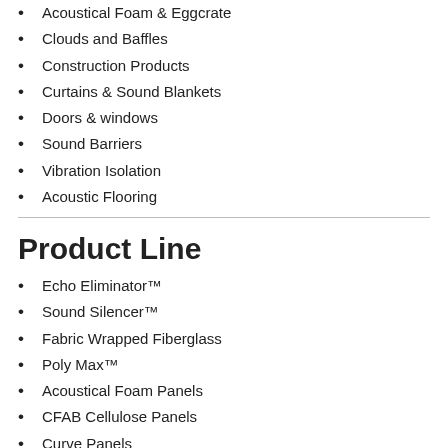Acoustical Foam & Eggcrate
Clouds and Baffles
Construction Products
Curtains & Sound Blankets
Doors & windows
Sound Barriers
Vibration Isolation
Acoustic Flooring
Product Line
Echo Eliminator™
Sound Silencer™
Fabric Wrapped Fiberglass
Poly Max™
Acoustical Foam Panels
CFAB Cellulose Panels
Curve Panels
Sound Silencer™ Ceiling tiles